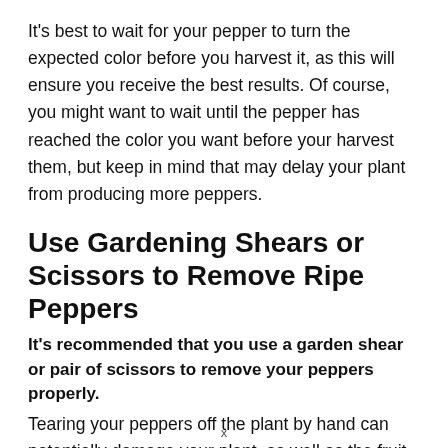It's best to wait for your pepper to turn the expected color before you harvest it, as this will ensure you receive the best results. Of course, you might want to wait until the pepper has reached the color you want before your harvest them, but keep in mind that may delay your plant from producing more peppers.
Use Gardening Shears or Scissors to Remove Ripe Peppers
It's recommended that you use a garden shear or pair of scissors to remove your peppers properly.
Tearing your peppers off the plant by hand can potentially damage your plant, as well as the fruit.
x